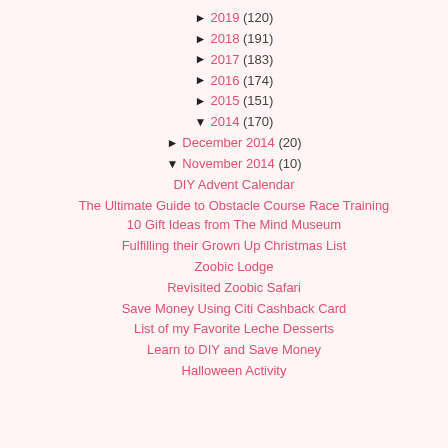► 2019 (120)
► 2018 (191)
► 2017 (183)
► 2016 (174)
► 2015 (151)
▼ 2014 (170)
► December 2014 (20)
▼ November 2014 (10)
DIY Advent Calendar
The Ultimate Guide to Obstacle Course Race Training
10 Gift Ideas from The Mind Museum
Fulfilling their Grown Up Christmas List
Zoobic Lodge
Revisited Zoobic Safari
Save Money Using Citi Cashback Card
List of my Favorite Leche Desserts
Learn to DIY and Save Money
Halloween Activity